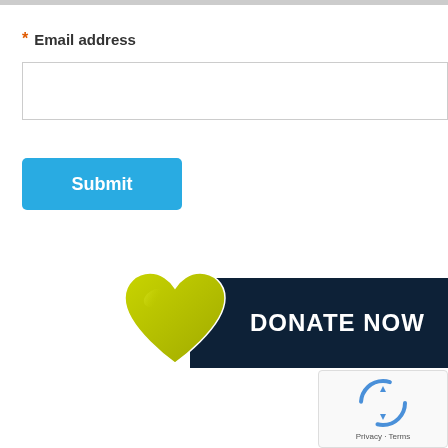* Email address
[Figure (screenshot): Empty email address input text field]
[Figure (screenshot): Submit button in blue]
[Figure (illustration): DONATE NOW banner with yellow heart icon on dark navy background]
[Figure (screenshot): reCAPTCHA widget showing spinning arrows logo with Privacy - Terms text]